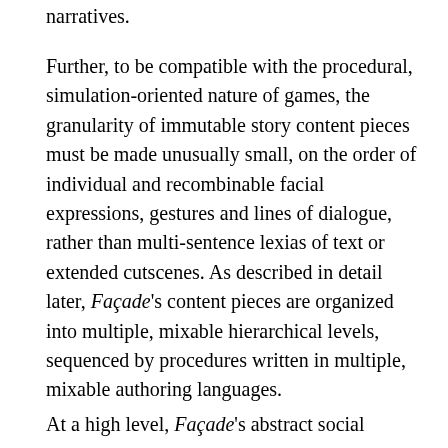narratives.
Further, to be compatible with the procedural, simulation-oriented nature of games, the granularity of immutable story content pieces must be made unusually small, on the order of individual and recombinable facial expressions, gestures and lines of dialogue, rather than multi-sentence lexias of text or extended cutscenes. As described in detail later, Façade's content pieces are organized into multiple, mixable hierarchical levels, sequenced by procedures written in multiple, mixable authoring languages.
At a high level, Façade's abstract social games